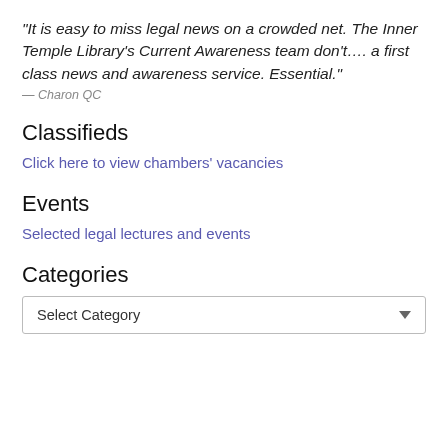“It is easy to miss legal news on a crowded net. The Inner Temple Library’s Current Awareness team don’t…. a first class news and awareness service. Essential.”
— Charon QC
Classifieds
Click here to view chambers’ vacancies
Events
Selected legal lectures and events
Categories
Select Category